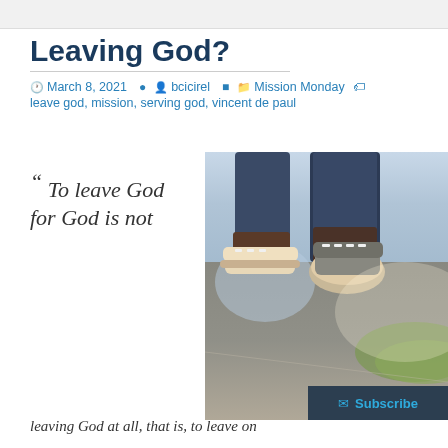Leaving God?
March 8, 2021   bcicirel   Mission Monday   leave god, mission, serving god, vincent de paul
" To leave God for God is not
[Figure (photo): Close-up photo of person's feet walking on a road/asphalt path, wearing sneakers, with grass visible on the side]
leaving God at all, that is, to leave on